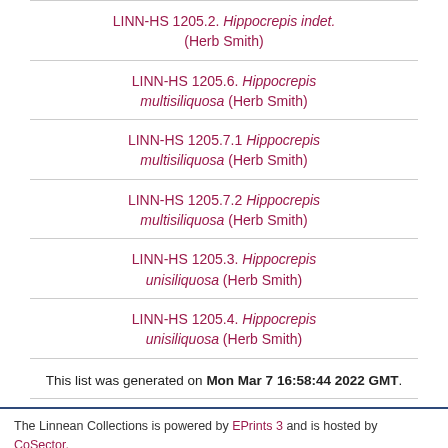LINN-HS 1205.2. Hippocrepis indet. (Herb Smith)
LINN-HS 1205.6. Hippocrepis multisiliquosa (Herb Smith)
LINN-HS 1205.7.1 Hippocrepis multisiliquosa (Herb Smith)
LINN-HS 1205.7.2 Hippocrepis multisiliquosa (Herb Smith)
LINN-HS 1205.3. Hippocrepis unisiliquosa (Herb Smith)
LINN-HS 1205.4. Hippocrepis unisiliquosa (Herb Smith)
This list was generated on Mon Mar 7 16:58:44 2022 GMT.
The Linnean Collections is powered by EPrints 3 and is hosted by CoSector, University of London. | Accessibility